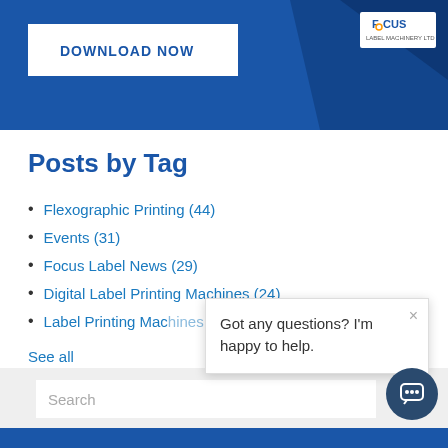[Figure (screenshot): Blue banner at top with white 'DOWNLOAD NOW' button and Focus Label Machinery logo on right side]
Posts by Tag
Flexographic Printing (44)
Events (31)
Focus Label News (29)
Digital Label Printing Machines (24)
Label Printing Machines (16)
See all
Got any questions? I'm happy to help.